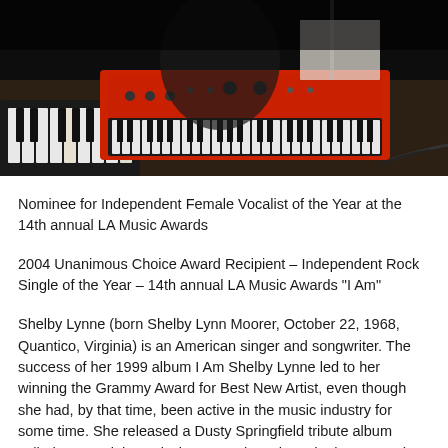[Figure (photo): Dark photograph of a musician at keyboards/synthesizers in a studio setting. A red synthesizer keyboard is visible in the center, with a black piano keyboard on the left, and a music stand with papers in the background.]
Nominee for Independent Female Vocalist of the Year at the 14th annual LA Music Awards
2004 Unanimous Choice Award Recipient – Independent Rock Single of the Year – 14th annual LA Music Awards "I Am"
Shelby Lynne (born Shelby Lynn Moorer, October 22, 1968, Quantico, Virginia) is an American singer and songwriter. The success of her 1999 album I Am Shelby Lynne led to her winning the Grammy Award for Best New Artist, even though she had, by that time, been active in the music industry for some time. She released a Dusty Springfield tribute album called Just a Little Lovin' in 2008. Since then she has started her own independent record label, called Everso Records, and released three albums: Tears, Lies and Alibis, Merry Christmas, and Revelation Road. Lynne is also known for her distinctive